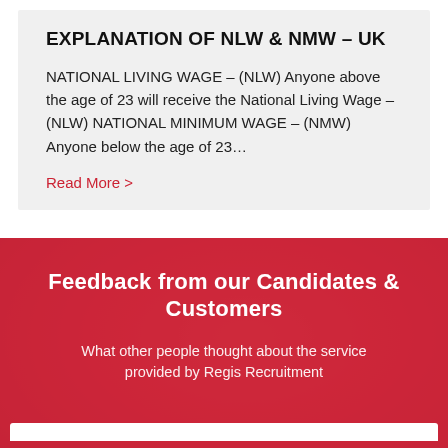EXPLANATION OF NLW & NMW – UK
NATIONAL LIVING WAGE – (NLW) Anyone above the age of 23 will receive the National Living Wage – (NLW) NATIONAL MINIMUM WAGE – (NMW) Anyone below the age of 23…
Read More >
Feedback from our Candidates & Customers
What other people thought about the service provided by Regis Recruitment